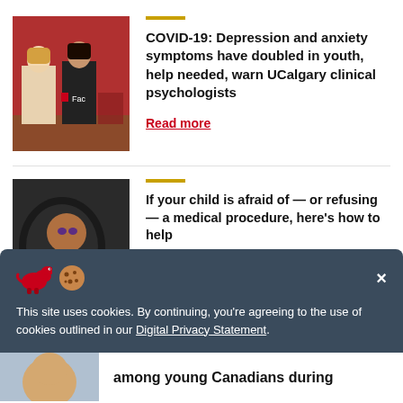[Figure (photo): Two women standing in front of a red wall, one in a floral dress and one in black clothing]
COVID-19: Depression and anxiety symptoms have doubled in youth, help needed, warn UCalgary clinical psychologists
Read more
[Figure (photo): Young girl in a purple dress receiving a medical procedure, looking at camera]
If your child is afraid of — or refusing — a medical procedure, here's how to help
This site uses cookies. By continuing, you're agreeing to the use of cookies outlined in our Digital Privacy Statement.
among young Canadians during